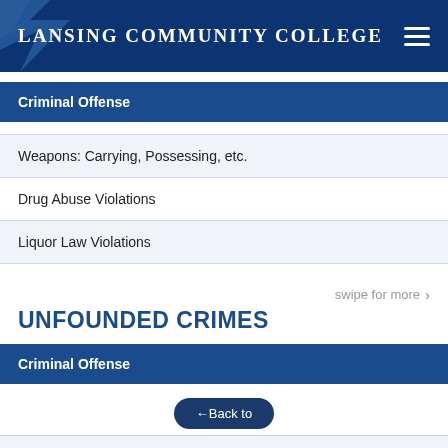LANSING COMMUNITY COLLEGE
Criminal Offense
Weapons: Carrying, Possessing, etc.
Drug Abuse Violations
Liquor Law Violations
swipe for more >
UNFOUNDED CRIMES
Criminal Offense
←Back to
Total Unfounded Crimes